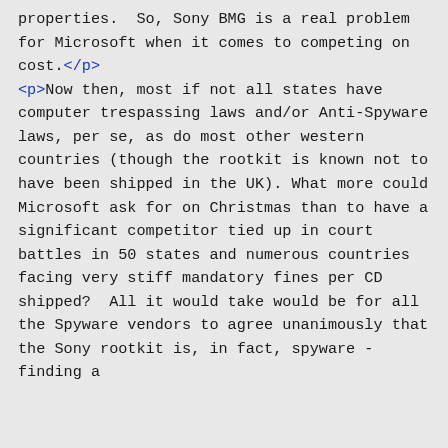properties.  So, Sony BMG is a real problem for Microsoft when it comes to competing on cost.</p>
<p>Now then, most if not all states have computer trespassing laws and/or Anti-Spyware laws, per se, as do most other western countries (though the rootkit is known not to have been shipped in the UK). What more could Microsoft ask for on Christmas than to have a significant competitor tied up in court battles in 50 states and numerous countries facing very stiff mandatory fines per CD shipped?  All it would take would be for all the Spyware vendors to agree unanimously that the Sony rootkit is, in fact, spyware - finding a